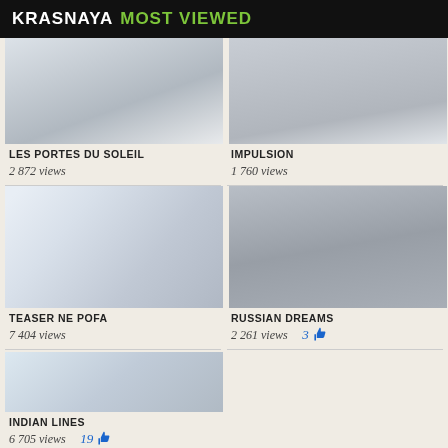KRASNAYA MOST VIEWED
[Figure (photo): Snow skiing photo - Les Portes du Soleil thumbnail]
LES PORTES DU SOLEIL
2 872 views
[Figure (photo): Snow skiing photo - Impulsion thumbnail]
IMPULSION
1 760 views
[Figure (photo): Skier in powder snow - Teaser Ne Pofa thumbnail]
TEASER NE POFA
7 404 views
[Figure (photo): Snowy forest - Russian Dreams thumbnail]
RUSSIAN DREAMS
2 261 views  3 👍
[Figure (photo): Snow and trees aerial - Indian Lines thumbnail]
INDIAN LINES
6 705 views  19 👍